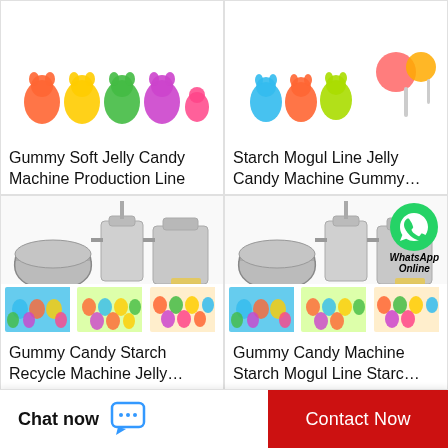[Figure (photo): Gummy candy colorful bears product photo - top left]
Gummy Soft Jelly Candy Machine Production Line
[Figure (photo): Starch Mogul jelly candy and colorful hard candy product photo - top right]
Starch Mogul Line Jelly Candy Machine Gummy…
[Figure (photo): Gummy Candy Starch Recycle Machine with stainless steel tanks and gummy candy thumbnails]
Gummy Candy Starch Recycle Machine Jelly…
[Figure (photo): Gummy Candy Machine Starch Mogul Line with stainless steel tanks, WhatsApp Online overlay, and gummy candy thumbnails]
Gummy Candy Machine Starch Mogul Line Starc…
Chat now
Contact Now